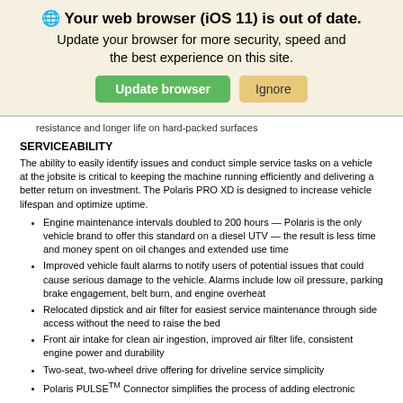[Figure (screenshot): Browser update notification banner with globe icon, title 'Your web browser (iOS 11) is out of date.', subtitle text, and two buttons: 'Update browser' (green) and 'Ignore' (tan/gold).]
resistance and longer life on hard-packed surfaces
SERVICEABILITY
The ability to easily identify issues and conduct simple service tasks on a vehicle at the jobsite is critical to keeping the machine running efficiently and delivering a better return on investment. The Polaris PRO XD is designed to increase vehicle lifespan and optimize uptime.
Engine maintenance intervals doubled to 200 hours — Polaris is the only vehicle brand to offer this standard on a diesel UTV — the result is less time and money spent on oil changes and extended use time
Improved vehicle fault alarms to notify users of potential issues that could cause serious damage to the vehicle. Alarms include low oil pressure, parking brake engagement, belt burn, and engine overheat
Relocated dipstick and air filter for easiest service maintenance through side access without the need to raise the bed
Front air intake for clean air ingestion, improved air filter life, consistent engine power and durability
Two-seat, two-wheel drive offering for driveline service simplicity
Polaris PULSETM Connector simplifies the process of adding electronic